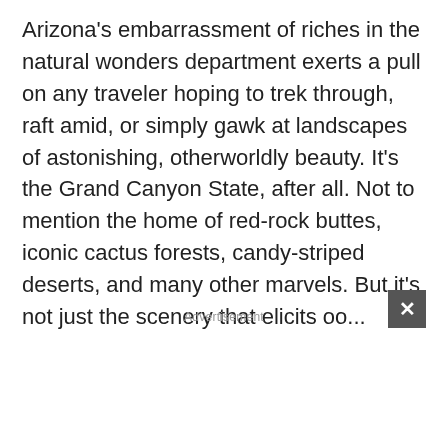Arizona's embarrassment of riches in the natural wonders department exerts a pull on any traveler hoping to trek through, raft amid, or simply gawk at landscapes of astonishing, otherworldly beauty. It's the Grand Canyon State, after all. Not to mention the home of red-rock buttes, iconic cactus forests, candy-striped deserts, and many other marvels. But it's not just the scenery that elicits oo...
Advertisement
[Figure (other): Advertisement widget asking 'Q1: When do you start your Holiday Shopping? (Select One)' with radio button options: August, September, October, November. Has a play/forward icon and a close button.]